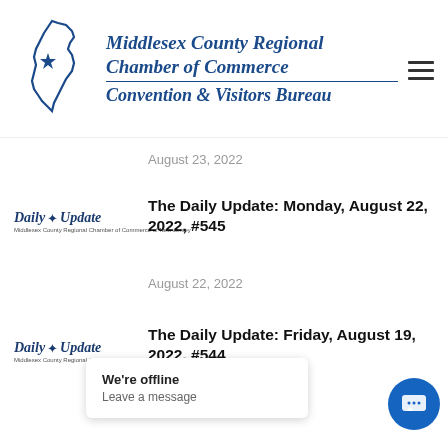[Figure (logo): Middlesex County Regional Chamber of Commerce Convention & Visitors Bureau logo with New Jersey state outline and star, plus hamburger menu icon]
August 23, 2022
[Figure (logo): Daily Update publication logo thumbnail]
The Daily Update: Monday, August 22, 2022, #545
August 22, 2022
[Figure (logo): Daily Update publication logo thumbnail]
The Daily Update: Friday, August 19, 2022, #544
A
We're offline
Leave a message